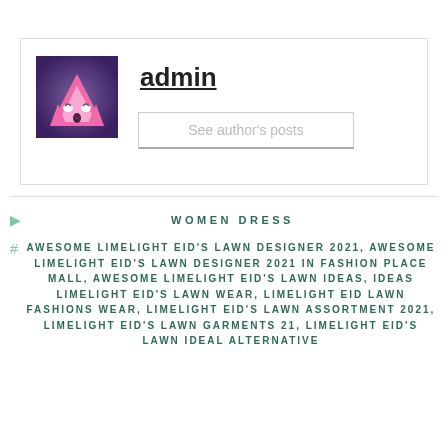[Figure (illustration): Avatar of admin: cartoon pink fox/wolf face on purple background]
admin
See author's posts
WOMEN DRESS
AWESOME LIMELIGHT EID'S LAWN DESIGNER 2021, AWESOME LIMELIGHT EID'S LAWN DESIGNER 2021 IN FASHION PLACE MALL, AWESOME LIMELIGHT EID'S LAWN IDEAS, IDEAS LIMELIGHT EID'S LAWN WEAR, LIMELIGHT EID LAWN FASHIONS WEAR, LIMELIGHT EID'S LAWN ASSORTMENT 2021, LIMELIGHT EID'S LAWN GARMENTS 21, LIMELIGHT EID'S LAWN IDEAL ALTERNATIVE